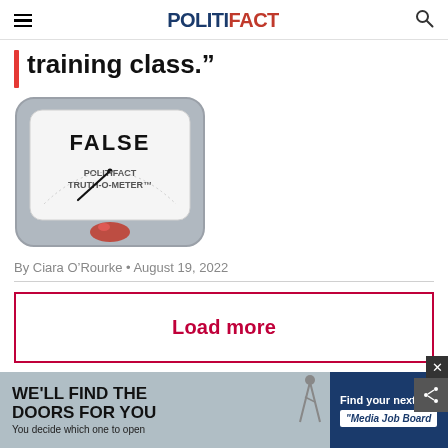POLITIFACT
training class.”
[Figure (illustration): PolitiFact Truth-O-Meter gauge showing FALSE rating with needle pointing to bottom left and red indicator light]
By Ciara O’Rourke • August 19, 2022
Load more
[Figure (illustration): Advertisement banner: left side shows 'WE'LL FIND THE DOORS FOR YOU / You decide which one to open' on gray background; right side shows 'Find your next job / Media Job Board' on dark blue background]